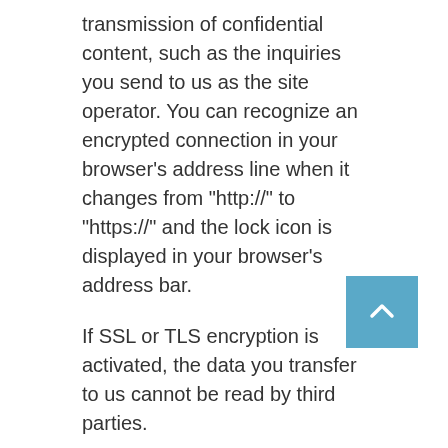transmission of confidential content, such as the inquiries you send to us as the site operator. You can recognize an encrypted connection in your browser's address line when it changes from “http://” to “https://” and the lock icon is displayed in your browser’s address bar.
If SSL or TLS encryption is activated, the data you transfer to us cannot be read by third parties.
Information, blocking, deletion
As permitted by law, you have the right to be provided at any time with information free of charge about any of your personal data that is stored as well as its origin, the recipient and the purpose for which it has been processed. You